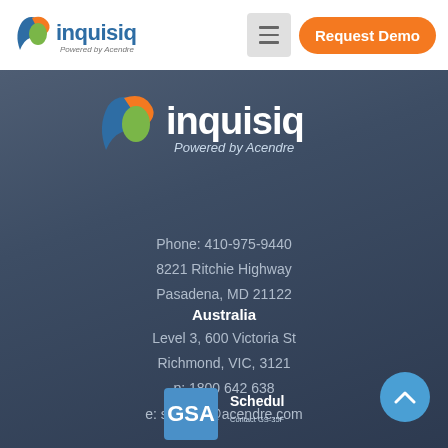inquisiq Powered by Acendre — navigation header with Request Demo button
[Figure (logo): inquisiq Powered by Acendre large logo centered on dark background]
Phone: 410-975-9440
8221 Ritchie Highway
Pasadena, MD 21122
Australia
Level 3, 600 Victoria St
Richmond, VIC, 3121
p: 1800 642 638
e: support@acendre.com
[Figure (logo): GSA Schedule Contact GS-35F-0207P badge]